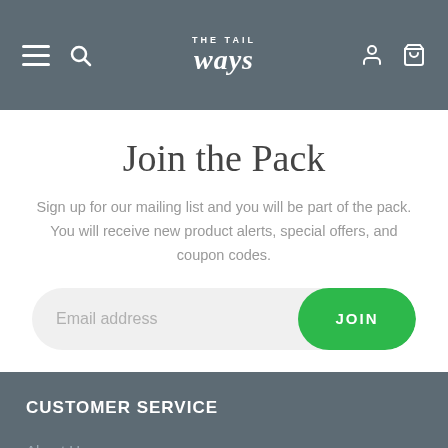TheTailWays — navigation header with hamburger menu, search, logo, user icon, cart icon
Join the Pack
Sign up for our mailing list and you will be part of the pack. You will receive new product alerts, special offers, and coupon codes.
[Figure (screenshot): Email address input field with JOIN button]
CUSTOMER SERVICE
About Us